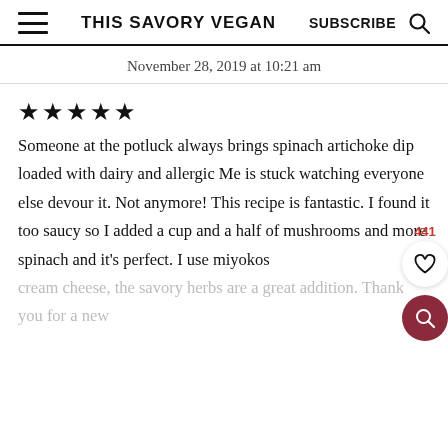THIS SAVORY VEGAN   SUBSCRIBE
November 28, 2019 at 10:21 am
★★★★★
Someone at the potluck always brings spinach artichoke dip loaded with dairy and allergic Me is stuck watching everyone else devour it. Not anymore! This recipe is fantastic. I found it too saucy so I added a cup and a half of mushrooms and more spinach and it's perfect. I use miyokos
cream cheese, the savory herbs are a great addition. Thank you for a new